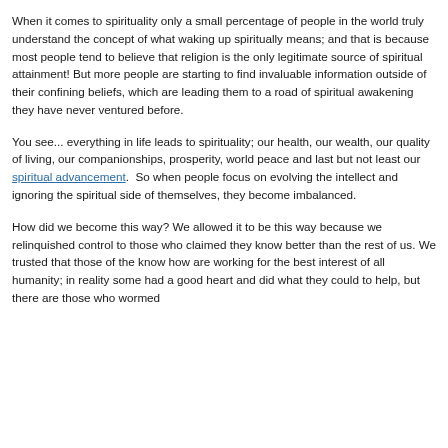When it comes to spirituality only a small percentage of people in the world truly understand the concept of what waking up spiritually means; and that is because most people tend to believe that religion is the only legitimate source of spiritual attainment! But more people are starting to find invaluable information outside of their confining beliefs, which are leading them to a road of spiritual awakening they have never ventured before.
You see... everything in life leads to spirituality; our health, our wealth, our quality of living, our companionships, prosperity, world peace and last but not least our spiritual advancement. So when people focus on evolving the intellect and ignoring the spiritual side of themselves, they become imbalanced.
How did we become this way? We allowed it to be this way because we relinquished control to those who claimed they know better than the rest of us. We trusted that those of the know how are working for the best interest of all humanity; in reality some had a good heart and did what they could to help, but there are those who wormed...